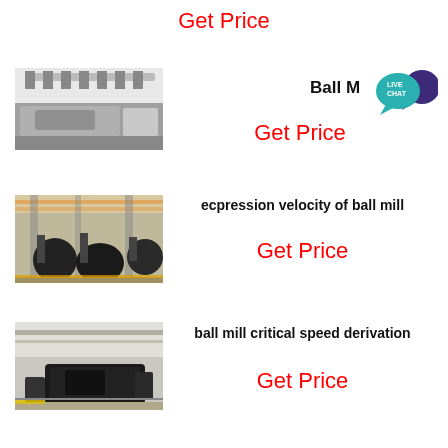Get Price
[Figure (photo): Industrial machinery close-up, gears and mechanical parts visible from below]
Ball M...
[Figure (infographic): Live Chat bubble icon]
Get Price
[Figure (photo): Large industrial ball mill equipment inside a factory building with overhead cranes]
ecpression velocity of ball mill
Get Price
[Figure (photo): Heavy industrial machinery inside a factory, large dark-colored equipment on rails]
ball mill critical speed derivation
Get Price